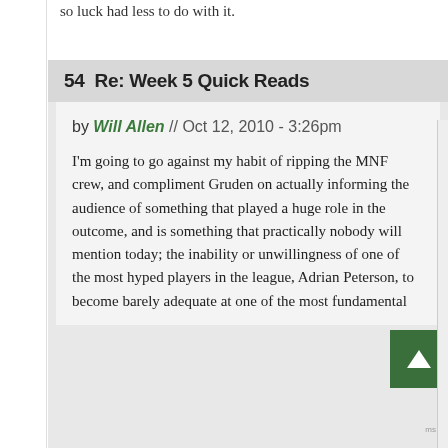so luck had less to do with it.
54  Re: Week 5 Quick Reads
by Will Allen // Oct 12, 2010 - 3:26pm
I'm going to go against my habit of ripping the MNF crew, and compliment Gruden on actually informing the audience of something that played a huge role in the outcome, and is something that practically nobody will mention today; the inability or unwillingness of one of the most hyped players in the league, Adrian Peterson, to become barely adequate at one of the most fundamental